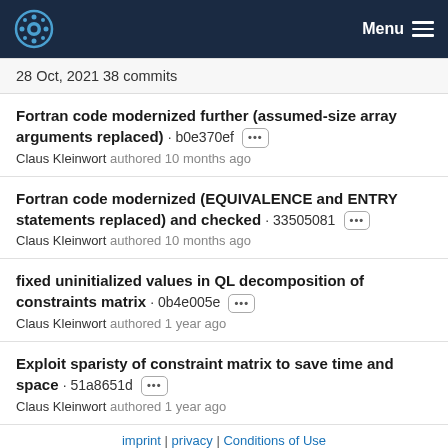Menu
28 Oct, 2021 38 commits
Fortran code modernized further (assumed-size array arguments replaced) · b0e370ef ··· Claus Kleinwort authored 10 months ago
Fortran code modernized (EQUIVALENCE and ENTRY statements replaced) and checked · 33505081 ··· Claus Kleinwort authored 10 months ago
fixed uninitialized values in QL decomposition of constraints matrix · 0b4e005e ··· Claus Kleinwort authored 1 year ago
Exploit sparisty of constraint matrix to save time and space · 51a8651d ··· Claus Kleinwort authored 1 year ago
imprint | privacy | Conditions of Use